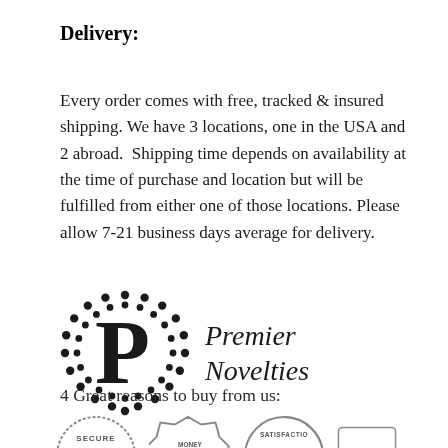Delivery:
Every order comes with free, tracked & insured shipping. We have 3 locations, one in the USA and 2 abroad.  Shipping time depends on availability at the time of purchase and location but will be fulfilled from either one of those locations. Please allow 7-21 business days average for delivery.
[Figure (logo): Premier Novelties logo: a circle made of dots with a large letter P inside, and the italic text 'Premier Novelties' to the right]
4 Great reasons to buy from us:
[Figure (infographic): Row of badges: Secure, Money-Back, Satisfaction, and one more partially visible]